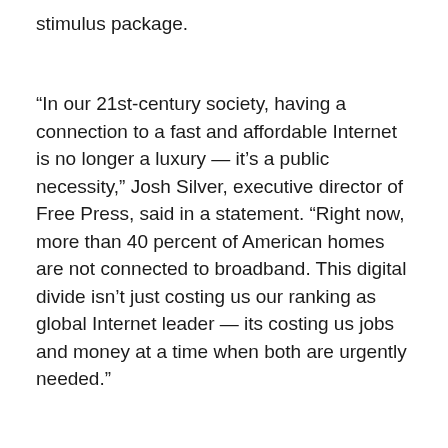stimulus package.
“In our 21st-century society, having a connection to a fast and affordable Internet is no longer a luxury — it’s a public necessity,” Josh Silver, executive director of Free Press, said in a statement. “Right now, more than 40 percent of American homes are not connected to broadband. This digital divide isn’t just costing us our ranking as global Internet leader — its costing us jobs and money at a time when both are urgently needed.”